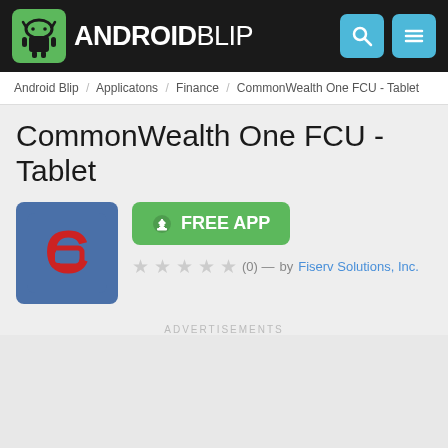ANDROIDBLIP
Android Blip / Applicatons / Finance / CommonWealth One FCU - Tablet
CommonWealth One FCU - Tablet
[Figure (logo): CommonWealth One FCU app icon - blue square with red C letter logo]
FREE APP
(0) — by Fiserv Solutions, Inc.
ADVERTISEMENTS